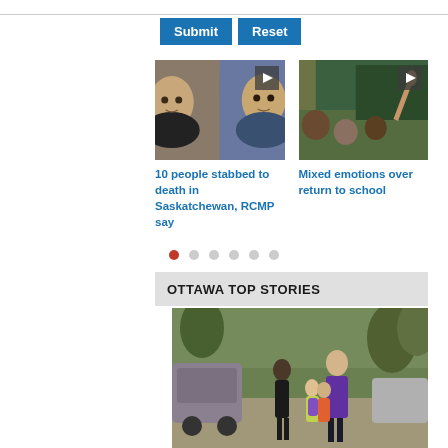[Figure (screenshot): Submit and Reset buttons on a web form]
[Figure (photo): Mugshot photos of two men, video thumbnail with play button]
10 people stabbed to death in Saskatchewan, RCMP say
[Figure (photo): Classroom with students raising hands, video thumbnail with play button]
Mixed emotions over return to school
[Figure (other): Carousel pagination dots, first dot active (red)]
OTTAWA TOP STORIES
[Figure (photo): Adults and children walking on a sidewalk toward school, seen from behind]